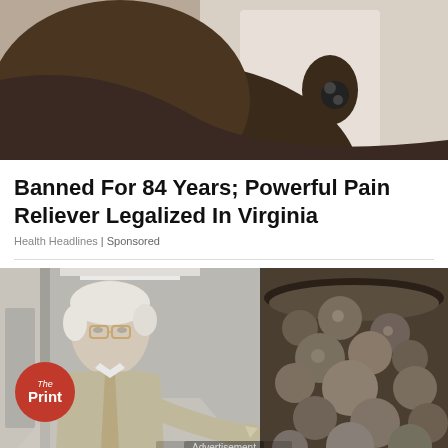[Figure (photo): Close-up photo of a person's neck/shoulder, dark skin, wearing earphones/earbuds, soft background]
Banned For 84 Years; Powerful Pain Reliever Legalized In Virginia
Health Headlines | Sponsored
[Figure (photo): Split image: left shows an older white-haired man in a suit pointing, standing in a hospital corridor, with The Print logo badge overlay; right shows boiling or bubbling food in a dark pan]
Advertisement
Save On Select Cosmetics With Buy 2 Get 3rd Free!